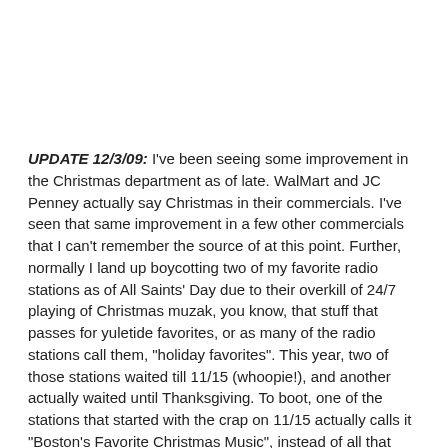UPDATE 12/3/09: I've been seeing some improvement in the Christmas department as of late. WalMart and JC Penney actually say Christmas in their commercials. I've seen that same improvement in a few other commercials that I can't remember the source of at this point. Further, normally I land up boycotting two of my favorite radio stations as of All Saints' Day due to their overkill of 24/7 playing of Christmas muzak, you know, that stuff that passes for yuletide favorites, or as many of the radio stations call them, "holiday favorites". This year, two of those stations waited till 11/15 (whoopie!), and another actually waited until Thanksgiving. To boot, one of the stations that started with the crap on 11/15 actually calls it "Boston's Favorite Christmas Music", instead of all that "holiday" crap. That said, any 24/7 of nothing but Christmas tunes is overkill, at least until Christmas Eve. -BMP